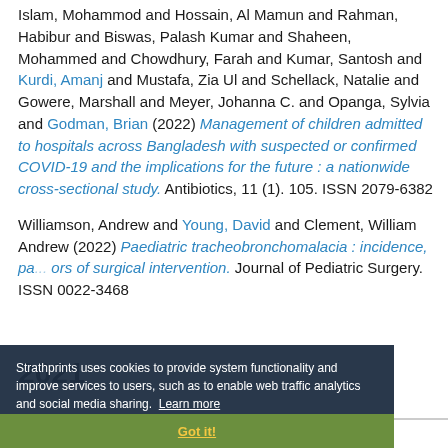Islam, Mohammod and Hossain, Al Mamun and Rahman, Habibur and Biswas, Palash Kumar and Shaheen, Mohammed and Chowdhury, Farah and Kumar, Santosh and Kurdi, Amanj and Mustafa, Zia Ul and Schellack, Natalie and Gowere, Marshall and Meyer, Johanna C. and Opanga, Sylvia and Godman, Brian (2022) Management of children admitted to hospitals across Bangladesh with suspected or confirmed COVID-19 and the implications for the future : a nationwide cross-sectional study. Antibiotics, 11 (1). 105. ISSN 2079-6382
Williamson, Andrew and Young, David and Clement, William Andrew (2022) Paediatric tracheobronchomalacia : incidence, pa... ors of surgical intervention. Journal of Pediatric Surgery. ISSN 0022-3468
2021